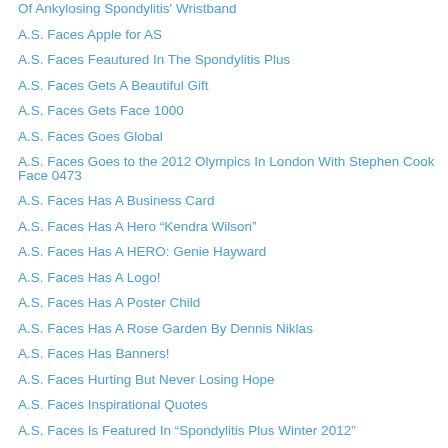Of Ankylosing Spondylitis' Wristband
A.S. Faces Apple for AS
A.S. Faces Feautured In The Spondylitis Plus
A.S. Faces Gets A Beautiful Gift
A.S. Faces Gets Face 1000
A.S. Faces Goes Global
A.S. Faces Goes to the 2012 Olympics In London With Stephen Cook Face 0473
A.S. Faces Has A Business Card
A.S. Faces Has A Hero “Kendra Wilson”
A.S. Faces Has A HERO: Genie Hayward
A.S. Faces Has A Logo!
A.S. Faces Has A Poster Child
A.S. Faces Has A Rose Garden By Dennis Niklas
A.S. Faces Has Banners!
A.S. Faces Hurting But Never Losing Hope
A.S. Faces Inspirational Quotes
A.S. Faces Is Featured In “Spondylitis Plus Winter 2012”
A.S. Faces Joins “Walk Your AS Off”
A.S. Faces Lisa Mannion Shares The Meaning Of True Love